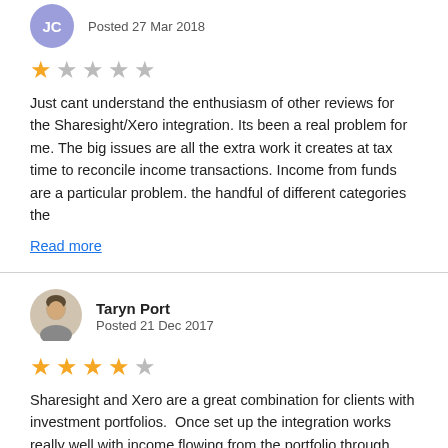[Figure (illustration): Avatar circle with initials JC in purple/lavender color]
Posted 27 Mar 2018
[Figure (illustration): Star rating: 1 out of 5 stars (1 filled orange, 4 empty grey)]
Just cant understand the enthusiasm of other reviews for the Sharesight/Xero integration. Its been a real problem for me. The big issues are all the extra work it creates at tax time to reconcile income transactions. Income from funds are a particular problem. the handful of different categories the
Read more
[Figure (photo): Photo of Taryn Port - woman with short hair, small circular avatar]
Taryn Port
Posted 21 Dec 2017
[Figure (illustration): Star rating: 4 out of 5 stars (4 filled orange, 1 empty grey)]
Sharesight and Xero are a great combination for clients with investment portfolios.  Once set up the integration works really well with income flowing from the portfolio through